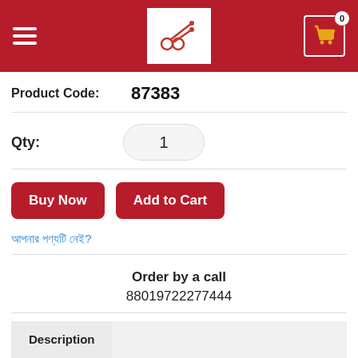[Figure (screenshot): Red header bar with hamburger menu icon on the left, a white logo box in the center containing a coupon/scissors icon, and a shopping cart icon with '0' badge on the right.]
Product Code: 87383
Qty: 1
Buy Now
Add to Cart
আপনার পণ্যটি নেই?
Order by a call
88019722774 44
Description
Vitabiotics Visionace Plus Omega-3